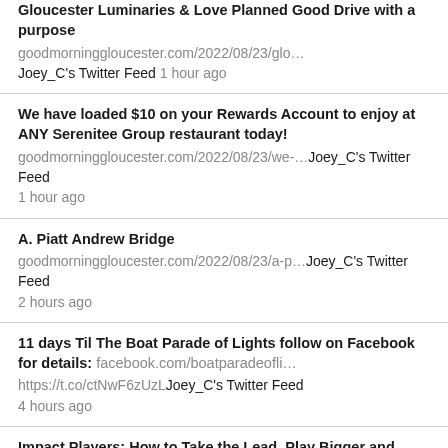Gloucester Luminaries & Love Planned Good Drive with a purpose goodmorninggloucester.com/2022/08/23/glo… Joey_C's Twitter Feed 1 hour ago
We have loaded $10 on your Rewards Account to enjoy at ANY Serenitee Group restaurant today! goodmorninggloucester.com/2022/08/23/we-… Joey_C's Twitter Feed 1 hour ago
A. Piatt Andrew Bridge goodmorninggloucester.com/2022/08/23/a-p… Joey_C's Twitter Feed 2 hours ago
11 days Til The Boat Parade of Lights follow on Facebook for details: facebook.com/boatparadeofli… https://t.co/ctNwF6zUzL Joey_C's Twitter Feed 4 hours ago
Impact Players: How to Take the Lead, Play Bigger and Multiply Your Impact – Author Talk with Liz Wiseman goodmorninggloucester.com/2022/08/23/imp… Joey_C's Twitter Feed 8 hours ago